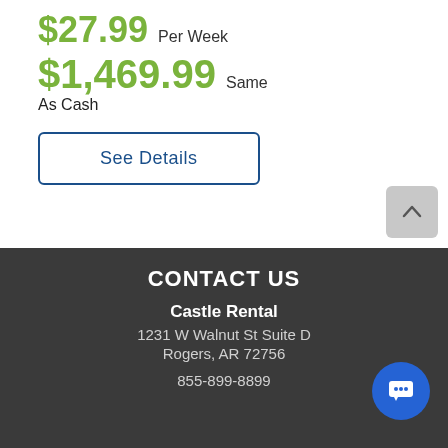$27.99 Per Week
$1,469.99 Same As Cash
See Details
CONTACT US
Castle Rental
1231 W Walnut St Suite D
Rogers, AR 72756
855-899-8899